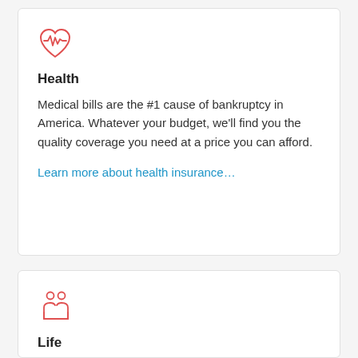[Figure (illustration): Red heart with heartbeat/EKG line icon]
Health
Medical bills are the #1 cause of bankruptcy in America. Whatever your budget, we'll find you the quality coverage you need at a price you can afford.
Learn more about health insurance…
[Figure (illustration): Red icon of two people (adults) standing together]
Life
You can have peace of mind today knowing those